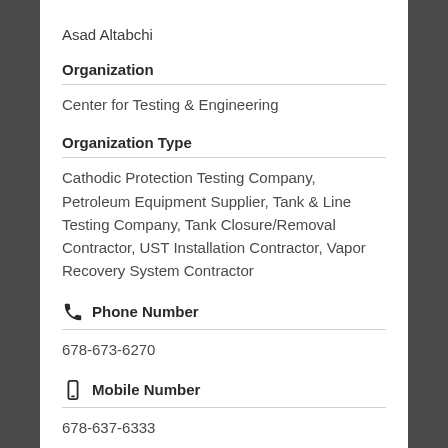Asad Altabchi
Organization
Center for Testing & Engineering
Organization Type
Cathodic Protection Testing Company, Petroleum Equipment Supplier, Tank & Line Testing Company, Tank Closure/Removal Contractor, UST Installation Contractor, Vapor Recovery System Contractor
Phone Number
678-673-6270
Mobile Number
678-637-6333
Fax Number